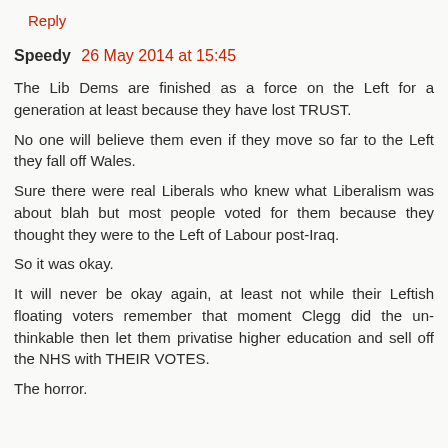Reply
Speedy 26 May 2014 at 15:45
The Lib Dems are finished as a force on the Left for a generation at least because they have lost TRUST.
No one will believe them even if they move so far to the Left they fall off Wales.
Sure there were real Liberals who knew what Liberalism was about blah but most people voted for them because they thought they were to the Left of Labour post-Iraq.
So it was okay.
It will never be okay again, at least not while their Leftish floating voters remember that moment Clegg did the un-thinkable then let them privatise higher education and sell off the NHS with THEIR VOTES.
The horror.